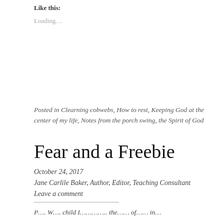Like this:
Loading...
Posted in Clearning cobwebs, How to rest, Keeping God at the center of my life, Notes from the porch swing, the Spirit of God
Fear and a Freebie
October 24, 2017
Jane Carlile Baker, Author, Editor, Teaching Consultant
Leave a comment
P…. W…. child I………….. the…… of…… in…